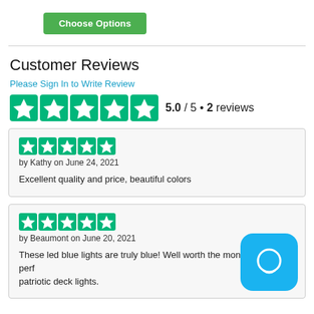Choose Options
Customer Reviews
Please Sign In to Write Review
[Figure (other): 5-star Trustpilot rating: 5.0/5 • 2 reviews]
by Kathy on June 24, 2021
Excellent quality and price, beautiful colors
by Beaumont on June 20, 2021
These led blue lights are truly blue! Well worth the money for the perfect patriotic deck lights.